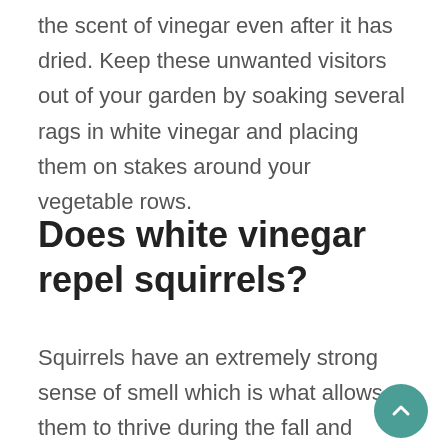the scent of vinegar even after it has dried. Keep these unwanted visitors out of your garden by soaking several rags in white vinegar and placing them on stakes around your vegetable rows.
Does white vinegar repel squirrels?
Squirrels have an extremely strong sense of smell which is what allows them to thrive during the fall and winter. Due to it's pungent aroma, squirrels are sensitive